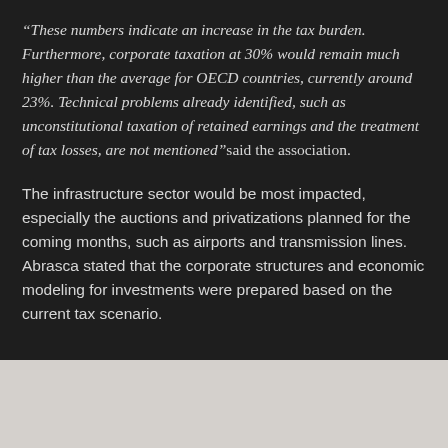“These numbers indicate an increase in the tax burden. Furthermore, corporate taxation at 30% would remain much higher than the average for OECD countries, currently around 23%. Technical problems already identified, such as unconstitutional taxation of retained earnings and the treatment of tax losses, are not mentioned”said the association.
The infrastructure sector would be most impacted, especially the auctions and privatizations planned for the coming months, such as airports and transmission lines. Abrasca stated that the corporate structures and economic modeling for investments were prepared based on the current tax scenario.